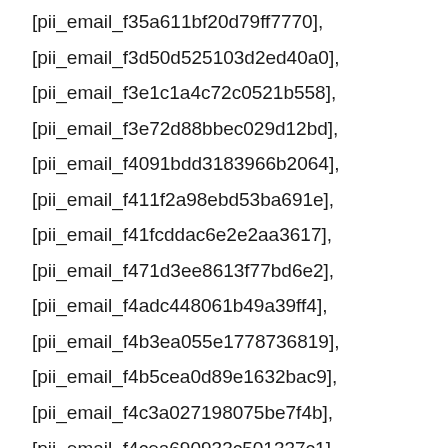[pii_email_f35a611bf20d79ff7770],
[pii_email_f3d50d525103d2ed40a0],
[pii_email_f3e1c1a4c72c0521b558],
[pii_email_f3e72d88bbec029d12bd],
[pii_email_f4091bdd3183966b2064],
[pii_email_f411f2a98ebd53ba691e],
[pii_email_f41fcddac6e2e2aa3617],
[pii_email_f471d3ee8613f77bd6e2],
[pii_email_f4adc448061b49a39ff4],
[pii_email_f4b3ea055e1778736819],
[pii_email_f4b5cea0d89e1632bac9],
[pii_email_f4c3a027198075be7f4b],
[pii_email_f4cea690933c501337c1],
[pii_email_f4dd241dae0be2e42a25],